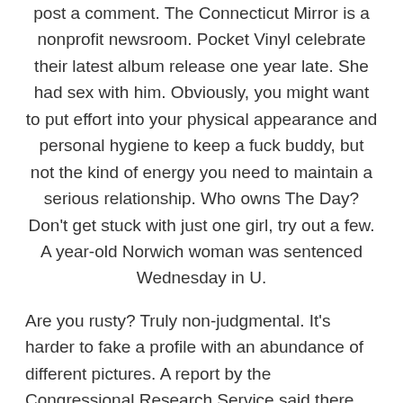post a comment. The Connecticut Mirror is a nonprofit newsroom. Pocket Vinyl celebrate their latest album release one year late. She had sex with him. Obviously, you might want to put effort into your physical appearance and personal hygiene to keep a fuck buddy, but not the kind of energy you need to maintain a serious relationship. Who owns The Day? Don't get stuck with just one girl, try out a few. A year-old Norwich woman was sentenced Wednesday in U.
Are you rusty? Truly non-judgmental. It's harder to fake a profile with an abundance of different pictures. A report by the Congressional Research Service said there were thought to be 50, sex slaves in the United States, most of whom were women and children. So before I get married I am looking to try everyhint out of